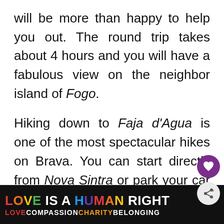will be more than happy to help you out. The round trip takes about 4 hours and you will have a fabulous view on the neighbor island of Fogo.
Hiking down to Faja d'Agua is one of the most spectacular hikes on Brava. You can start directly from Nova Sintra or park your car at the Mira Beleza viewpoint. The duration from Nova Sintra is about 3 hours. In serpentine, cobbled path leads you along fertile...
[Figure (screenshot): Purple heart FAB button and grey share FAB button overlaid on text]
[Figure (screenshot): Bottom banner ad: rainbow colored 'LOVE IS A HUMAN RIGHT' text on black background with LOVE COMPASSION CHARITY BELONGING subtitle and close button]